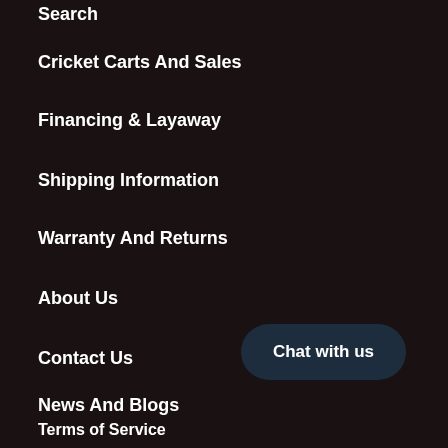Search
Cricket Carts And Sales
Financing & Layaway
Shipping Information
Warranty And Returns
About Us
Contact Us
News And Blogs
Terms of Service
Chat with us